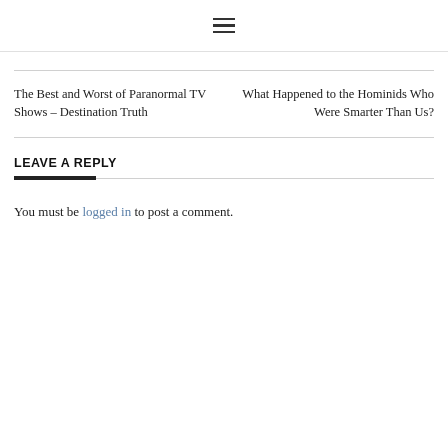☰
The Best and Worst of Paranormal TV Shows – Destination Truth
What Happened to the Hominids Who Were Smarter Than Us?
LEAVE A REPLY
You must be logged in to post a comment.